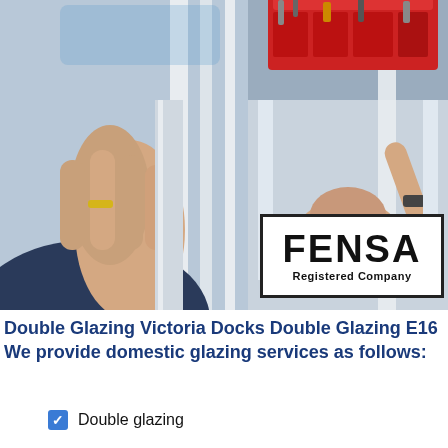[Figure (photo): Composite photo: left side shows hands gripping a white window/door frame, right side shows a worker installing a window with a red toolbox visible at top]
[Figure (logo): FENSA Registered Company logo — bold black text on white background with black border]
Double Glazing Victoria Docks Double Glazing E16 We provide domestic glazing services as follows:
Double glazing